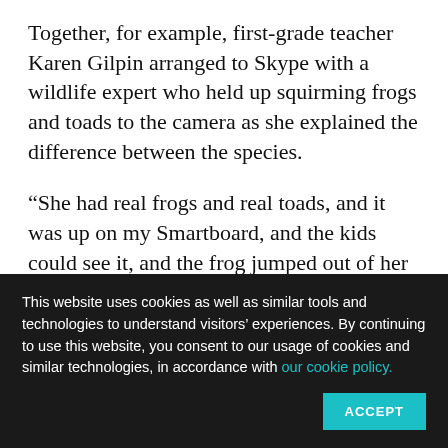Together, for example, first-grade teacher Karen Gilpin arranged to Skype with a wildlife expert who held up squirming frogs and toads to the camera as she explained the difference between the species.
“She had real frogs and real toads, and it was up on my Smartboard, and the kids could see it, and the frog jumped out of her hand—it was just an amazing experience that we were able to
This website uses cookies as well as similar tools and technologies to understand visitors’ experiences. By continuing to use this website, you consent to our usage of cookies and similar technologies, in accordance with our cookie policy.